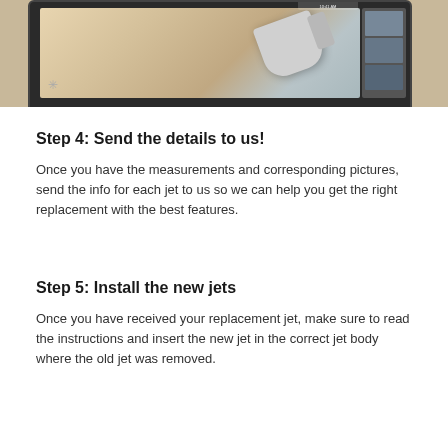[Figure (photo): A smartphone screen showing a close-up photo of a nozzle/jet part being measured or photographed, with the phone resting on a surface. The phone has a dark bezel and shows the camera app with a thumbnail strip on the right side.]
Step 4: Send the details to us!
Once you have the measurements and corresponding pictures, send the info for each jet to us so we can help you get the right replacement with the best features.
Step 5: Install the new jets
Once you have received your replacement jet, make sure to read the instructions and insert the new jet in the correct jet body where the old jet was removed.